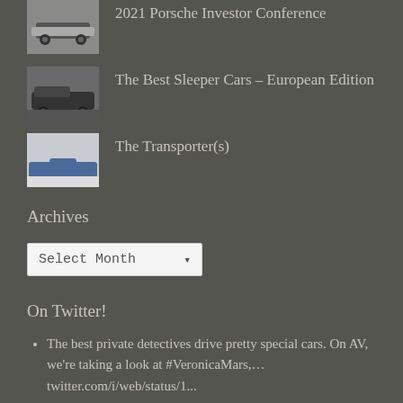[Figure (photo): Thumbnail of car article - Porsche Investor Conference]
2021 Porsche Investor Conference
[Figure (photo): Thumbnail of dark sedan car - Sleeper Cars European Edition]
The Best Sleeper Cars – European Edition
[Figure (photo): Thumbnail of blue cars in snowy setting - The Transporters]
The Transporter(s)
Archives
Select Month
On Twitter!
The best private detectives drive pretty special cars. On AV, we're taking a look at #VeronicaMars,… twitter.com/i/web/status/1...